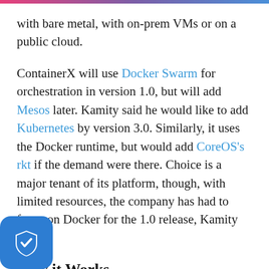with bare metal, with on-prem VMs or on a public cloud.
ContainerX will use Docker Swarm for orchestration in version 1.0, but will add Mesos later. Kamity said he would like to add Kubernetes by version 3.0. Similarly, it uses the Docker runtime, but would add CoreOS's rkt if the demand were there. Choice is a major tenant of its platform, though, with limited resources, the company has had to focus on Docker for the 1.0 release, Kamity says.
How it Works
e's an agent container that sits on each host and the agent has compute, storage and network. The